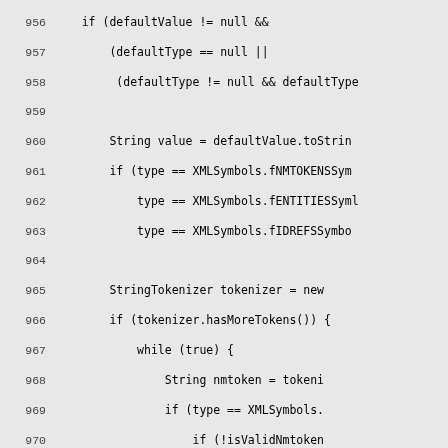Source code listing, lines 956-985, showing Java/XML parsing logic with defaultValue checks, StringTokenizer, nmtoken validation, and name validation loops.